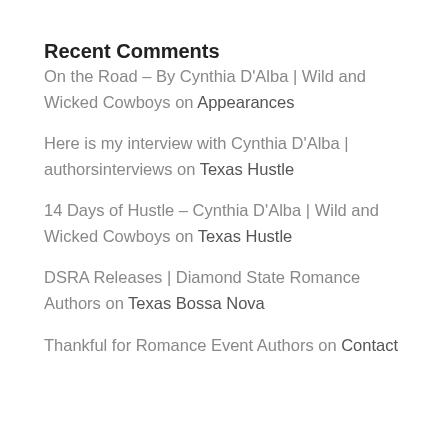Recent Comments
On the Road – By Cynthia D'Alba | Wild and Wicked Cowboys on Appearances
Here is my interview with Cynthia D'Alba | authorsinterviews on Texas Hustle
14 Days of Hustle – Cynthia D'Alba | Wild and Wicked Cowboys on Texas Hustle
DSRA Releases | Diamond State Romance Authors on Texas Bossa Nova
Thankful for Romance Event Authors on Contact